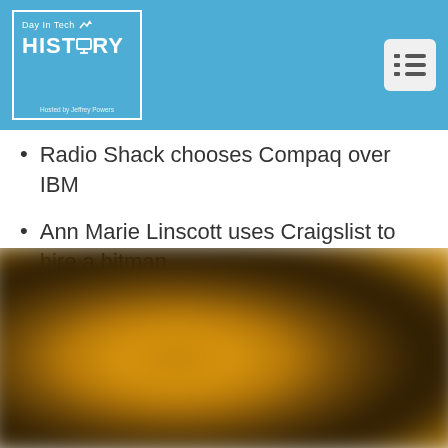Day In Tech HISTORY — Hosted by Jeffrey Powers
Radio Shack chooses Compaq over IBM
Ann Marie Linscott uses Craigslist to hire a hitman
[Figure (photo): Blurred image of what appears to be an old electronic device or computer hardware, shown in brown/golden tones with heavy blur effect]